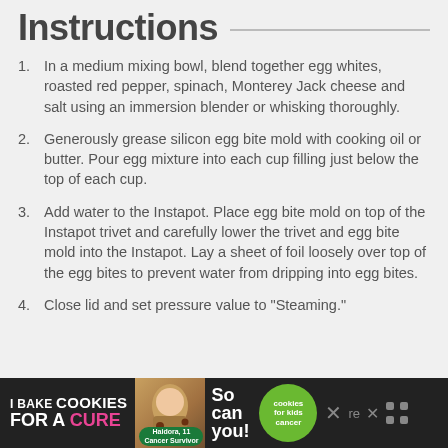Instructions
In a medium mixing bowl, blend together egg whites, roasted red pepper, spinach, Monterey Jack cheese and salt using an immersion blender or whisking thoroughly.
Generously grease silicon egg bite mold with cooking oil or butter. Pour egg mixture into each cup filling just below the top of each cup.
Add water to the Instapot. Place egg bite mold on top of the Instapot trivet and carefully lower the trivet and egg bite mold into the Instapot. Lay a sheet of foil loosely over top of the egg bites to prevent water from dripping into egg bites.
Close lid and set pressure value to "Steaming."
[Figure (other): Advertisement banner: I Bake COOKIES For A CURE - Haidora, 11 Cancer Survivor - So can you! - cookies for kids cancer logo]